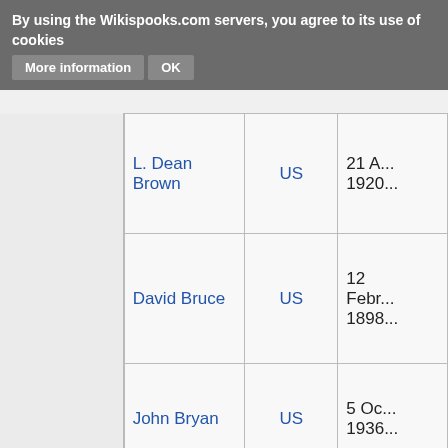By using the Wikispooks.com servers, you agree to its use of cookies  More information  OK
|  | Name | Nationality | Born |
| --- | --- | --- | --- |
|  | L. Dean Brown | US | 21 A... 1920... |
|  | David Bruce | US | 12 Febr... 1898... |
|  | John Bryan | US | 5 Oc... 1936... |
|  | Zbigniew Brzezinski | US | 28 M... 1928... |
|  | William F. Buckley | US | 24 Nove... 1925... |
|  | ... | US | 30 A... |